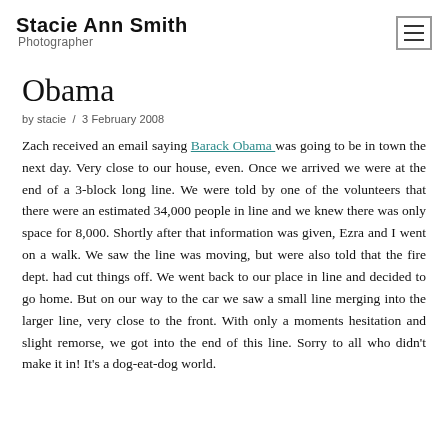Stacie Ann Smith
Photographer
Obama
by stacie / 3 February 2008
Zach received an email saying Barack Obama was going to be in town the next day. Very close to our house, even. Once we arrived we were at the end of a 3-block long line. We were told by one of the volunteers that there were an estimated 34,000 people in line and we knew there was only space for 8,000. Shortly after that information was given, Ezra and I went on a walk. We saw the line was moving, but were also told that the fire dept. had cut things off. We went back to our place in line and decided to go home. But on our way to the car we saw a small line merging into the larger line, very close to the front. With only a moments hesitation and slight remorse, we got into the end of this line. Sorry to all who didn't make it in! It's a dog-eat-dog world.